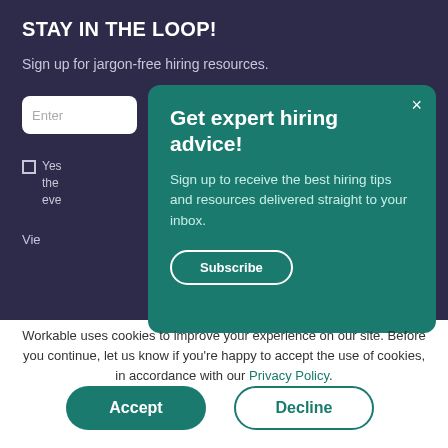STAY IN THE LOOP!
Sign up for jargon-free hiring resources.
[Figure (screenshot): Email input field placeholder showing 'Enter']
Yes the eve
Vie
Get expert hiring advice!
Sign up to receive the best hiring tips and resources delivered straight to your inbox.
Subscribe
Workable uses cookies to improve your experience on our site. Before you continue, let us know if you're happy to accept the use of cookies, in accordance with our Privacy Policy.
Accept
Decline